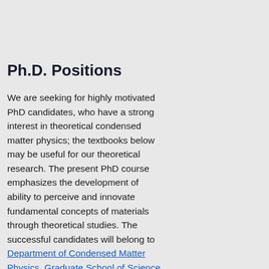Top
Members
Publications
PostDoc
Contact
Poster
募集
Ph.D. Positions
We are seeking for highly motivated PhD candidates, who have a strong interest in theoretical condensed matter physics; the textbooks below may be useful for our theoretical research. The present PhD course emphasizes the development of ability to perceive and innovate fundamental concepts of materials through theoretical studies. The successful candidates will belong to Department of Condensed Matter Physics, Graduate School of Science, Hokkaido University, and carry out a PhD project at NIMS in Tsukuba, receiving the NIMS Graduate